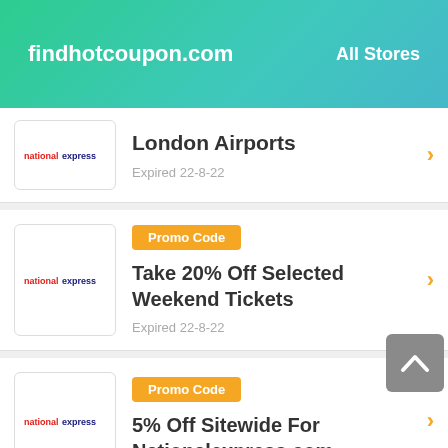findhotcoupon.com   All Stores
London Airports
Expired 22-8-22
[Figure (logo): National Express logo (partially visible)]
Promo Code
Take 20% Off Selected Weekend Tickets
Expired 22-8-22
[Figure (logo): National Express logo]
Promo Code
5% Off Sitewide For Nationalexpress.com
[Figure (logo): National Express logo]